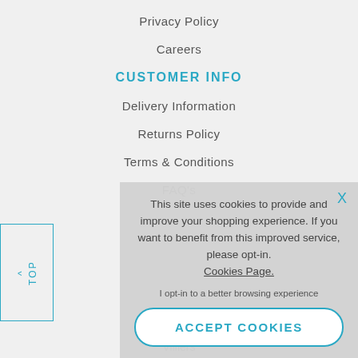Privacy Policy
Careers
CUSTOMER INFO
Delivery Information
Returns Policy
Terms & Conditions
FAQ's
This site uses cookies to provide and improve your shopping experience. If you want to benefit from this improved service, please opt-in. Cookies Page. I opt-in to a better browsing experience
ACCEPT COOKIES
^ TOP
Villiers